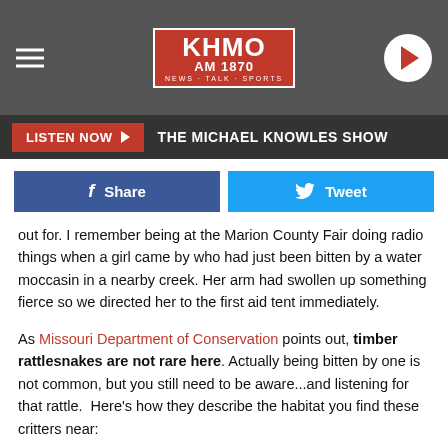[Figure (screenshot): KHMO AM 1870 radio station logo header with hamburger menu icon on left and play button on right, on grey background]
LISTEN NOW ▶  THE MICHAEL KNOWLES SHOW
[Figure (infographic): Facebook Share button and Twitter Tweet button row]
out for. I remember being at the Marion County Fair doing radio things when a girl came by who had just been bitten by a water moccasin in a nearby creek. Her arm had swollen up something fierce so we directed her to the first aid tent immediately.
As Missouri Department of Conservation points out, timber rattlesnakes are not rare here. Actually being bitten by one is not common, but you still need to be aware...and listening for that rattle.  Here's how they describe the habitat you find these critters near: